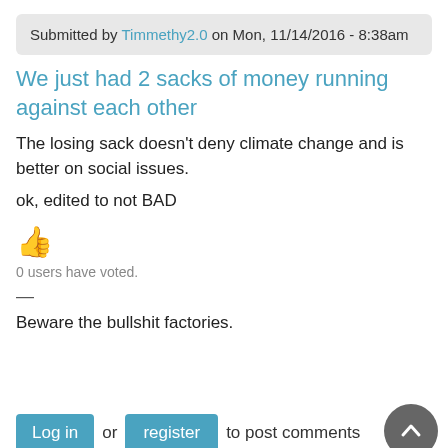Submitted by Timmethy2.0 on Mon, 11/14/2016 - 8:38am
We just had 2 sacks of money running against each other
The losing sack doesn't deny climate change and is better on social issues.
ok, edited to not BAD
[Figure (illustration): Thumbs up emoji in orange/gold color]
0 users have voted.
—
Beware the bullshit factories.
Log in or register to post comments